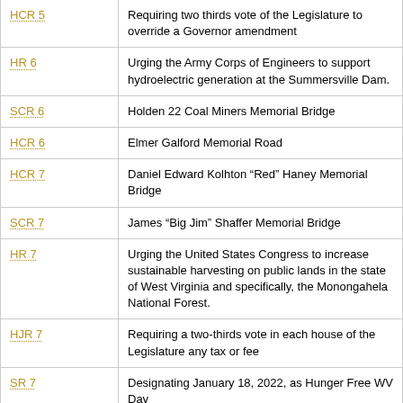| Bill | Description |
| --- | --- |
| HCR 5 | Requiring two thirds vote of the Legislature to override a Governor amendment |
| HR 6 | Urging the Army Corps of Engineers to support hydroelectric generation at the Summersville Dam. |
| SCR 6 | Holden 22 Coal Miners Memorial Bridge |
| HCR 6 | Elmer Galford Memorial Road |
| HCR 7 | Daniel Edward Kolhton “Red” Haney Memorial Bridge |
| SCR 7 | James “Big Jim” Shaffer Memorial Bridge |
| HR 7 | Urging the United States Congress to increase sustainable harvesting on public lands in the state of West Virginia and specifically, the Monongahela National Forest. |
| HJR 7 | Requiring a two-thirds vote in each house of the Legislature any tax or fee |
| SR 7 | Designating January 18, 2022, as Hunger Free WV Day |